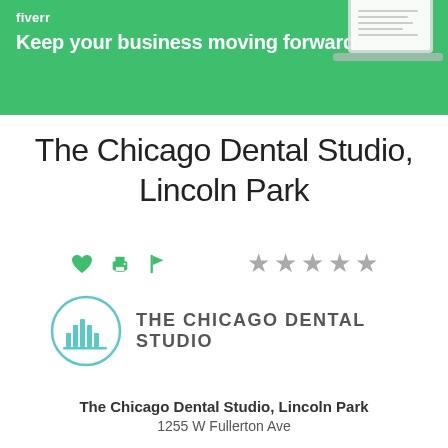[Figure (screenshot): Fiverr banner with green background showing logo text 'fiverr' and tagline 'Keep your business moving forward', with a laptop image in top-right corner]
The Chicago Dental Studio, Lincoln Park
[Figure (other): Action icons: heart, printer, flag (green), and five grey star rating]
[Figure (logo): The Chicago Dental Studio logo: teal circle with bar chart icon inside, text 'THE CHICAGO DENTAL STUDIO' to the right]
The Chicago Dental Studio, Lincoln Park
1255 W Fullerton Ave